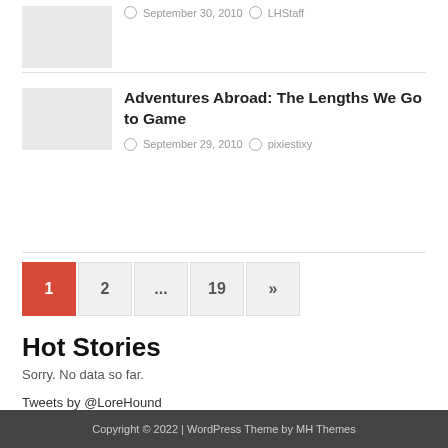September 30, 2010  LHStaff
Adventures Abroad: The Lengths We Go to Game
September 29, 2010  pixiestixy
1  2  ...  19  »
Hot Stories
Sorry. No data so far.
Tweets by @LoreHound
Copyright © 2022 | WordPress Theme by MH Themes